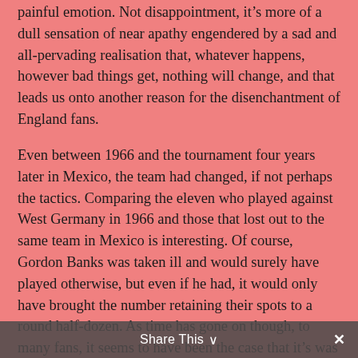painful emotion. Not disappointment, it's more of a dull sensation of near apathy engendered by a sad and all-pervading realisation that, whatever happens, however bad things get, nothing will change, and that leads us onto another reason for the disenchantment of England fans.
Even between 1966 and the tournament four years later in Mexico, the team had changed, if not perhaps the tactics. Comparing the eleven who played against West Germany in 1966 and those that lost out to the same team in Mexico is interesting. Of course, Gordon Banks was taken ill and would surely have played otherwise, but even if he had, it would only have brought the number retaining their spots to a round half-dozen. As time has gone on though, to many fans, it seems to have been the case that it's was far easier to get into England squads than out of them. Of
Share This ∨  ✕